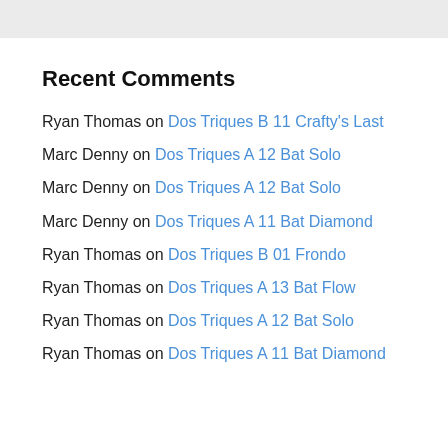Recent Comments
Ryan Thomas on Dos Triques B 11 Crafty's Last
Marc Denny on Dos Triques A 12 Bat Solo
Marc Denny on Dos Triques A 12 Bat Solo
Marc Denny on Dos Triques A 11 Bat Diamond
Ryan Thomas on Dos Triques B 01 Frondo
Ryan Thomas on Dos Triques A 13 Bat Flow
Ryan Thomas on Dos Triques A 12 Bat Solo
Ryan Thomas on Dos Triques A 11 Bat Diamond